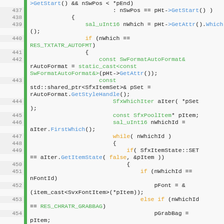[Figure (screenshot): Source code viewer showing C++ code lines 437-456 with syntax highlighting. Green gutter bar on left, line numbers in gray, keywords in orange, function/method names in blue, types in green, regular code in dark/black.]